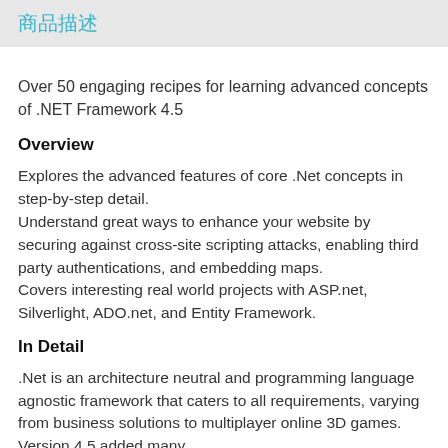商品描述
Over 50 engaging recipes for learning advanced concepts of .NET Framework 4.5
Overview
Explores the advanced features of core .Net concepts in step-by-step detail. Understand great ways to enhance your website by securing against cross-site scripting attacks, enabling third party authentications, and embedding maps. Covers interesting real world projects with ASP.net, Silverlight, ADO.net, and Entity Framework.
In Detail
.Net is an architecture neutral and programming language agnostic framework that caters to all requirements, varying from business solutions to multiplayer online 3D games. Version 4.5 added many